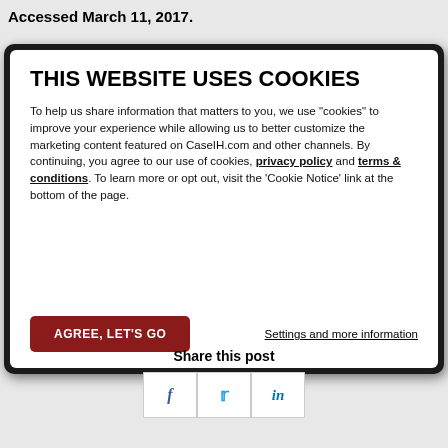Accessed March 11, 2017.
[Figure (screenshot): Cookie consent modal overlay with title 'THIS WEBSITE USES COOKIES', body text explaining cookie usage with links to privacy policy and terms & conditions, an 'AGREE, LET'S GO' red button, and a 'Settings and more information' link.]
Share this post
[Figure (infographic): Three social media icon buttons: Facebook (f), Twitter (bird/t), LinkedIn (in)]